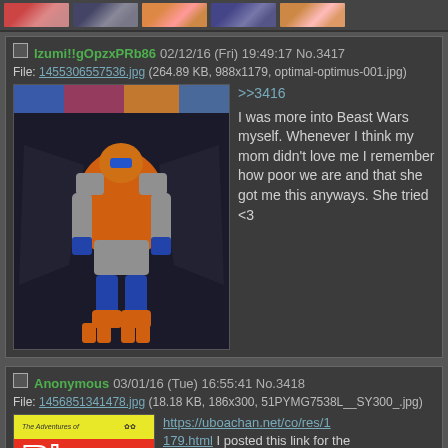[Figure (screenshot): Top strip with thumbnail images from an imageboard thread]
Izumi!!gOpzxPRb86 02/12/16 (Fri) 19:49:17 No.3417
File: 1455306557536.jpg (264.89 KB, 988x1179, optimal-optimus-001.jpg)
[Figure (photo): Optimal Optimus Beast Wars Transformers toy figure in robot mode, orange and dark/black colors with large wings]
>>3416
I was more into Beast Wars myself. Whenever I think my mom didn't love me I remember how poor we are and that she got me this anyways. She tried <3
Anonymous 03/01/16 (Tue) 16:55:41 No.3418
File: 1456851341478.jpg (18.18 KB, 186x300, 51PYMG7538L__SY300_.jpg)
[Figure (photo): Book cover: The Adventures of Ric (partially visible), yellow and red colors]
https://uboachan.net/co/res/1179.html
I posted this link for the